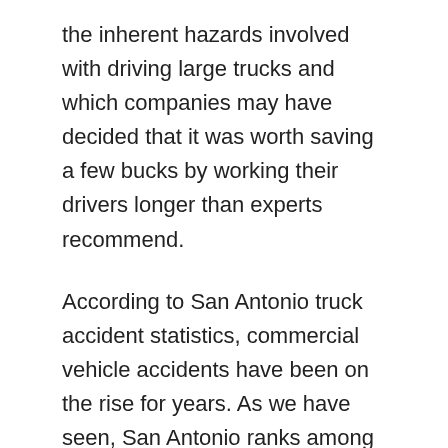the inherent hazards involved with driving large trucks and which companies may have decided that it was worth saving a few bucks by working their drivers longer than experts recommend.
According to San Antonio truck accident statistics, commercial vehicle accidents have been on the rise for years. As we have seen, San Antonio ranks among the highest in the state when it comes to .the number of collisions, injuries, and deaths in the state. And with the city's ever-expanding population, it seems unlikely that such a trend will reverse itself anytime soon. So, be careful when driving around